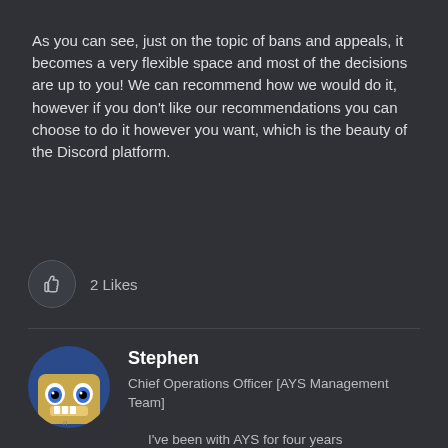As you can see, just on the topic of bans and appeals, it becomes a very flexible space and most of the decisions are up to you! We can recommend how we would do it, however if you don't like our recommendations you can choose to do it however you want, which is the beauty of the Discord platform.
[Figure (other): Thumbs up icon button with '2 Likes' text beside it]
[Figure (photo): Circular avatar image of a cartoon character (SpongeBob-like figure with large eyes) on a dark blue background]
Stephen
Chief Operations Officer [AYS Management Team]
I've been with AYS for four years